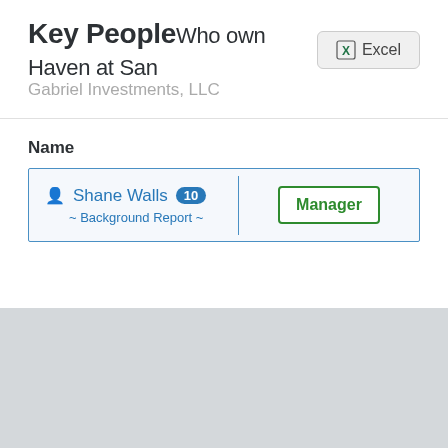Key People Who own Haven at San
Gabriel Investments, LLC
Name
| Name |  |
| --- | --- |
| Shane Walls 10 ~ Background Report ~ | Manager |